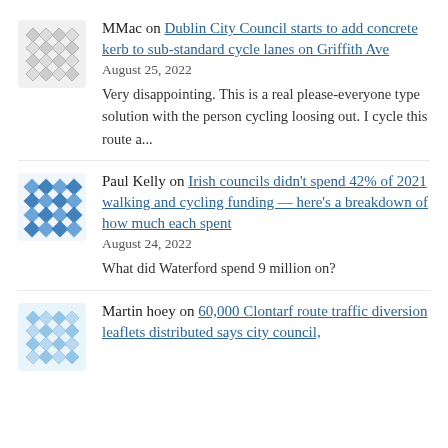[Figure (illustration): Avatar icon for MMac — grey geometric diamond/snowflake pattern]
MMac on Dublin City Council starts to add concrete kerb to sub-standard cycle lanes on Griffith Ave
August 25, 2022
Very disappointing. This is a real please-everyone type solution with the person cycling loosing out. I cycle this route a...
[Figure (illustration): Avatar icon for Paul Kelly — blue geometric diamond/checkerboard pattern]
Paul Kelly on Irish councils didn't spend 42% of 2021 walking and cycling funding — here's a breakdown of how much each spent
August 24, 2022
What did Waterford spend 9 million on?
[Figure (illustration): Avatar icon for Martin hoey — light blue geometric diamond/snowflake pattern]
Martin hoey on 60,000 Clontarf route traffic diversion leaflets distributed says city council,